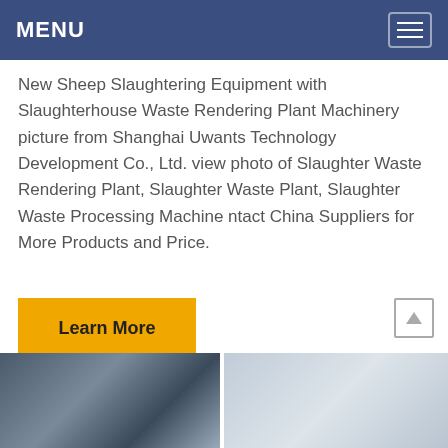MENU
New Sheep Slaughtering Equipment with Slaughterhouse Waste Rendering Plant Machinery picture from Shanghai Uwants Technology Development Co., Ltd. view photo of Slaughter Waste Rendering Plant, Slaughter Waste Plant, Slaughter Waste Processing Machine ntact China Suppliers for More Products and Price.
[Figure (other): Yellow 'Learn More' button]
[Figure (photo): Two industrial/equipment photos side by side at the bottom of the page showing slaughterhouse or rendering plant machinery]